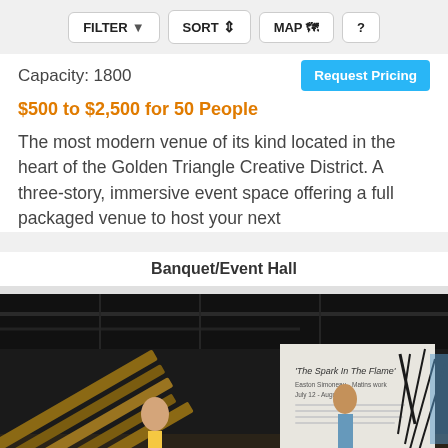FILTER  SORT  MAP  ?
Capacity: 1800
Request Pricing
$500 to $2,500 for 50 People
The most modern venue of its kind located in the heart of the Golden Triangle Creative District. A three-story, immersive event space offering a full packaged venue to host your next
Banquet/Event Hall
[Figure (photo): Interior of a modern event/gallery space with people gathered near a white wall displaying 'The Spark In The Flame' exhibit signage. Stacked lumber/wood beams visible on the left side, industrial ceiling, dark ambiance.]